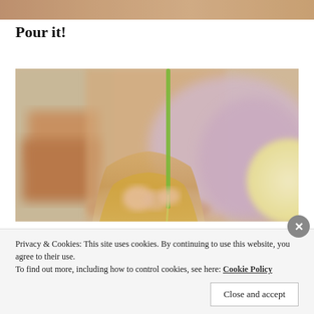[Figure (photo): Top cropped portion of a food/drink photo, warm tones]
Pour it!
[Figure (photo): Close-up photo of a liquid being poured through a green straw or stem into a glass, with blurred background showing warm orange and purple tones — a drink preparation scene]
Privacy & Cookies: This site uses cookies. By continuing to use this website, you agree to their use.
To find out more, including how to control cookies, see here: Cookie Policy
Close and accept